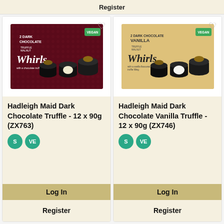Register
[Figure (photo): Dark Chocolate Truffle Walnut Whirls product box — 2 dark chocolate whirls on dark red background, with VEGAN label]
Hadleigh Maid Dark Chocolate Truffle - 12 x 90g (ZX763)
[Figure (photo): Dark Chocolate Vanilla Truffle Walnut Whirls product box — 2 dark chocolate whirls on cream/tan background, with VEGAN label]
Hadleigh Maid Dark Chocolate Vanilla Truffle - 12 x 90g (ZX746)